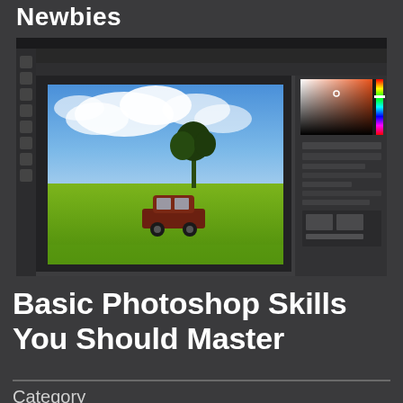Newbies
[Figure (screenshot): A laptop screen displaying Adobe Photoshop with a scenic landscape photo being edited — blue sky with clouds, green field, a tree, and a classic car. The Photoshop interface shows toolbars, panels, and a color picker in the upper right corner.]
Basic Photoshop Skills You Should Master
Category